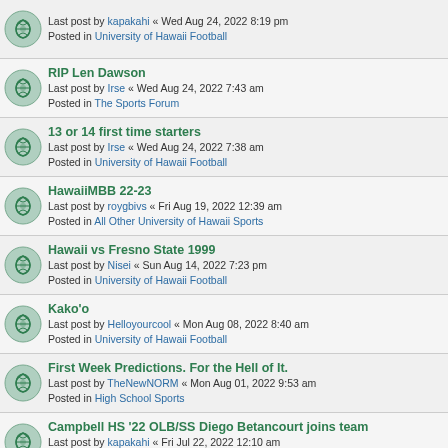Last post by kapakahi « Wed Aug 24, 2022 8:19 pm
Posted in University of Hawaii Football
RIP Len Dawson
Last post by Irse « Wed Aug 24, 2022 7:43 am
Posted in The Sports Forum
13 or 14 first time starters
Last post by Irse « Wed Aug 24, 2022 7:38 am
Posted in University of Hawaii Football
HawaiiMBB 22-23
Last post by roygbivs « Fri Aug 19, 2022 12:39 am
Posted in All Other University of Hawaii Sports
Hawaii vs Fresno State 1999
Last post by Nisei « Sun Aug 14, 2022 7:23 pm
Posted in University of Hawaii Football
Kako'o
Last post by Helloyourcool « Mon Aug 08, 2022 8:40 am
Posted in University of Hawaii Football
First Week Predictions. For the Hell of It.
Last post by TheNewNORM « Mon Aug 01, 2022 9:53 am
Posted in High School Sports
Campbell HS '22 OLB/SS Diego Betancourt joins team
Last post by kapakahi « Fri Jul 22, 2022 12:10 am
Posted in University of Hawaii Football
Commitment #HawaiiMVB #WarriorBall25
Last post by roygbivs « Mon Jul 04, 2022 3:23 pm
Posted in All Other University of Hawaii Sports
2022 WR Pofele Ashlock